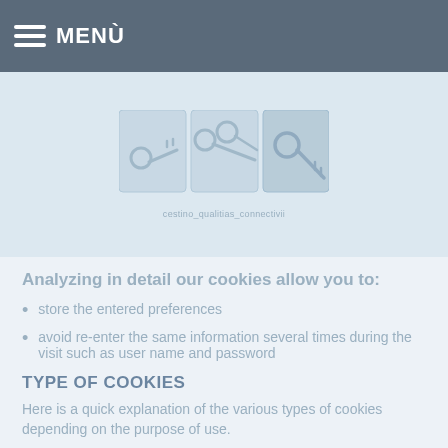MENÙ
[Figure (illustration): Cookie/key icon image representing cookies in three panels, with a caption below]
cestino_qualitias_connectivii
Analyzing in detail our cookies allow you to:
store the entered preferences
avoid re-enter the same information several times during the visit such as user name and password
TYPE OF COOKIES
Here is a quick explanation of the various types of cookies depending on the purpose of use.
Technical Cookie
This type of cookie allows the user to navigate...